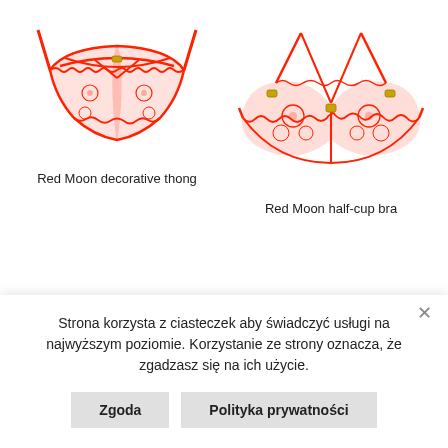[Figure (illustration): Red lace decorative thong underwear with crossover straps and floral lace pattern]
[Figure (illustration): Red lace half-cup bra with halter straps and floral lace pattern]
Red Moon decorative thong
Red Moon half-cup bra
Strona korzysta z ciasteczek aby świadczyć usługi na najwyższym poziomie. Korzystanie ze strony oznacza, że zgadzasz się na ich użycie.
Zgoda
Polityka prywatności